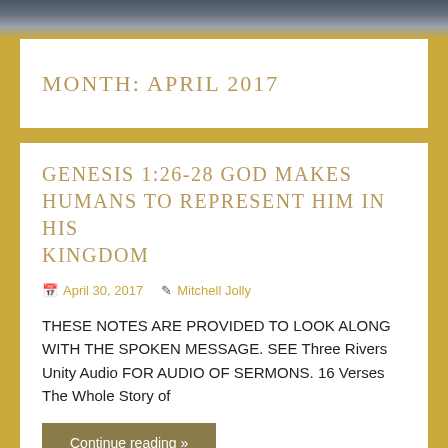[Figure (photo): Dark landscape/nature photo strip at top of page]
MONTH: APRIL 2017
GENESIS 1:26-28 GOD MAKES HUMANS TO REPRESENT HIM IN HIS KINGDOM
April 30, 2017    Mitchell Jolly
THESE NOTES ARE PROVIDED TO LOOK ALONG WITH THE SPOKEN MESSAGE. SEE Three Rivers Unity Audio FOR AUDIO OF SERMONS. 16 Verses The Whole Story of
Continue reading »